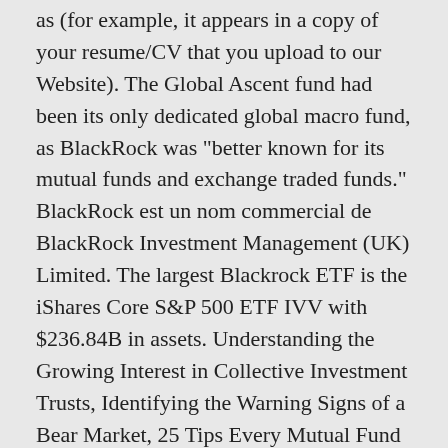as (for example, it appears in a copy of your resume/CV that you upload to our Website). The Global Ascent fund had been its only dedicated global macro fund, as BlackRock was "better known for its mutual funds and exchange traded funds." BlackRock est un nom commercial de BlackRock Investment Management (UK) Limited. The largest Blackrock ETF is the iShares Core S&P 500 ETF IVV with $236.84B in assets. Understanding the Growing Interest in Collective Investment Trusts, Identifying the Warning Signs of a Bear Market, 25 Tips Every Mutual Fund Investor Should Know, 7 Questions to Ask When Buying a Mutual Fund. Any future changes or additions to the processing of your personal data as